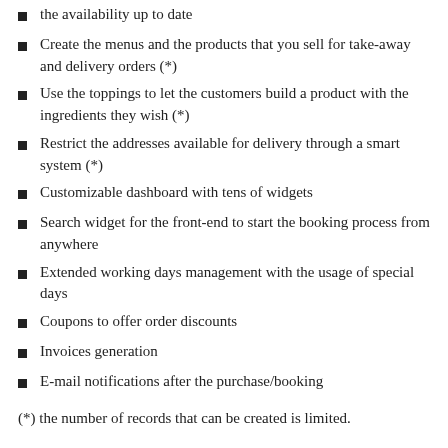the availability up to date
Create the menus and the products that you sell for take-away and delivery orders (*)
Use the toppings to let the customers build a product with the ingredients they wish (*)
Restrict the addresses available for delivery through a smart system (*)
Customizable dashboard with tens of widgets
Search widget for the front-end to start the booking process from anywhere
Extended working days management with the usage of special days
Coupons to offer order discounts
Invoices generation
E-mail notifications after the purchase/booking
(*) the number of records that can be created is limited.